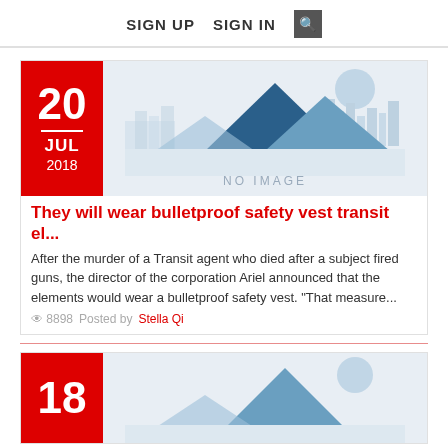SIGN UP  SIGN IN  [search]
[Figure (illustration): No image placeholder with mountain/city skyline silhouette illustration in light blue tones]
They will wear bulletproof safety vest transit el...
After the murder of a Transit agent who died after a subject fired guns, the director of the corporation Ariel announced that the elements would wear a bulletproof safety vest. "That measure...
8898   Posted by Stella Qi
[Figure (illustration): No image placeholder with mountain/city skyline silhouette illustration in light blue tones (second article, partial view)]